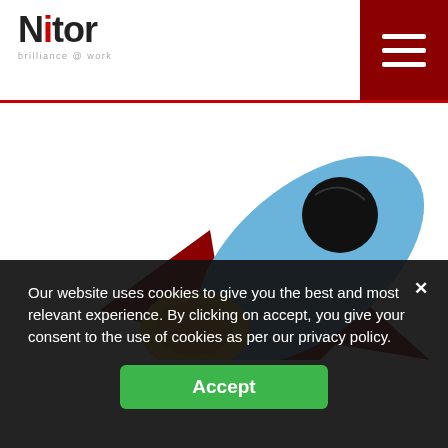Nitor — brilliance @ work
[Figure (illustration): Cartoon rocket illustration with blue body, dark red/maroon fins, black window, and yellow/orange flame exhaust, launching upward on white background]
Our website uses cookies to give you the best and most relevant experience. By clicking on accept, you give your consent to the use of cookies as per our privacy policy.
Accept